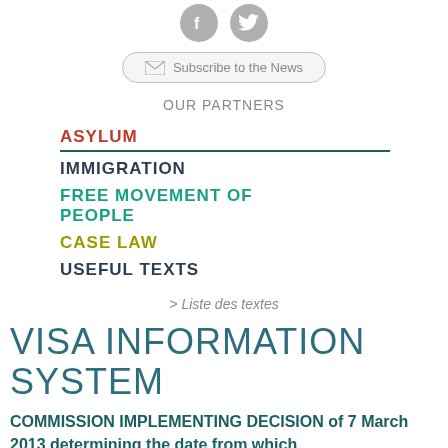[Figure (illustration): Social media icons: Facebook and Twitter logos in grey circles]
[Figure (illustration): Subscribe to the News button with envelope icon]
OUR PARTNERS
ASYLUM
IMMIGRATION
FREE MOVEMENT OF PEOPLE
CASE LAW
USEFUL TEXTS
> Liste des textes
VISA INFORMATION SYSTEM
COMMISSION IMPLEMENTING DECISION of 7 March 2013 determining the date from which